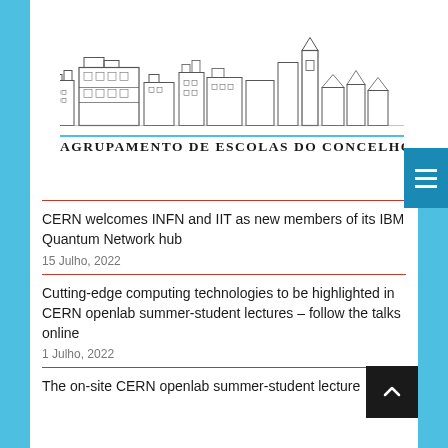[Figure (illustration): Line art skyline illustration of buildings and a church tower]
AGRUPAMENTO DE ESCOLAS DO CONCELHO DE MOR
CERN welcomes INFN and IIT as new members of its IBM Quantum Network hub
15 Julho, 2022
Cutting-edge computing technologies to be highlighted in CERN openlab summer-student lectures – follow the talks online
1 Julho, 2022
The on-site CERN openlab summer-student lecture